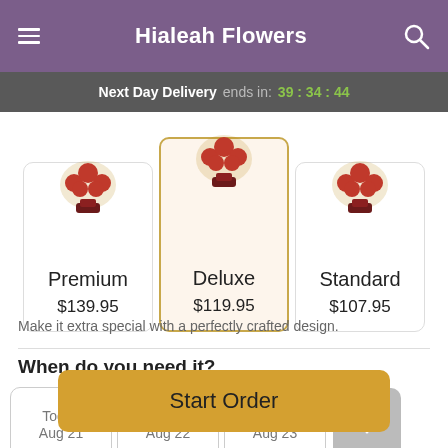Hialeah Flowers
Next Day Delivery ends in: 39:34:44
[Figure (screenshot): Three flower arrangement product cards: Premium $139.95, Deluxe $119.95 (selected), Standard $107.95]
Make it extra special with a perfectly crafted design.
When do you need it?
Today Aug 21 / Mon Aug 22 / Tue Aug 23
Start Order